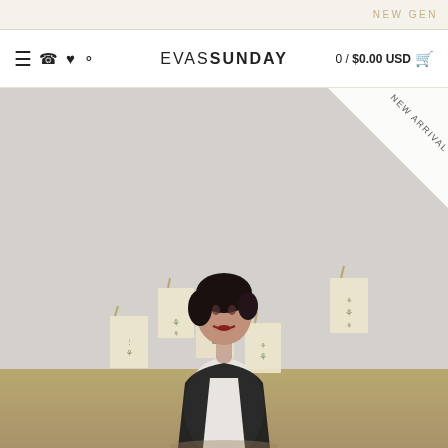NEW GEN
≡ 📞♥ 🔍  EVAS SUNDAY  0 / $0.00 USD 🛒
[Figure (photo): Fashion e-commerce product photo showing a woman with short dark hair standing against a white wall decorated with botanical prints mounted on beige cards, wearing a black jacket over a white t-shirt. A 'NEW ARRIVAL' diagonal ribbon badge appears in the upper right corner of the image.]